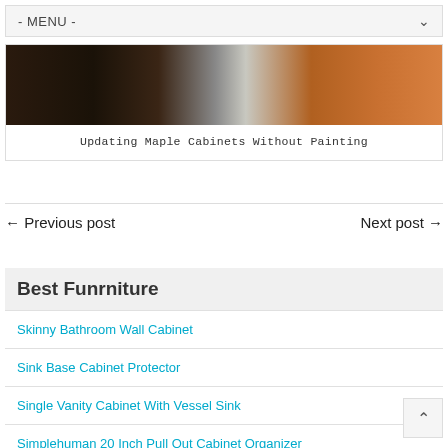- MENU -
[Figure (photo): Dark kitchen countertop photo showing black stone surface on left and wood cabinet visible on right side]
Updating Maple Cabinets Without Painting
← Previous post    Next post →
Best Funrniture
Skinny Bathroom Wall Cabinet
Sink Base Cabinet Protector
Single Vanity Cabinet With Vessel Sink
Simplehuman 20 Inch Pull Out Cabinet Organizer
Simon Maple Modern Floor Cabinet